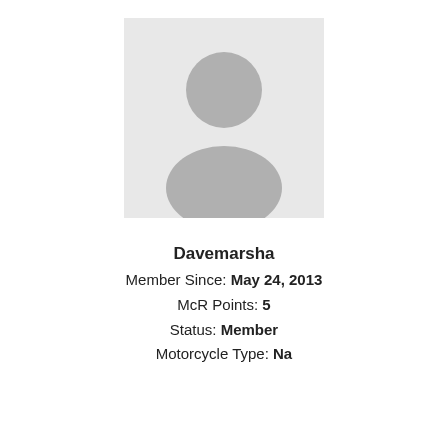[Figure (illustration): Default user avatar placeholder: light gray square background with a gray silhouette of a person (circle head and rounded torso/shoulders).]
Davemarsha
Member Since: May 24, 2013
McR Points: 5
Status: Member
Motorcycle Type: Na